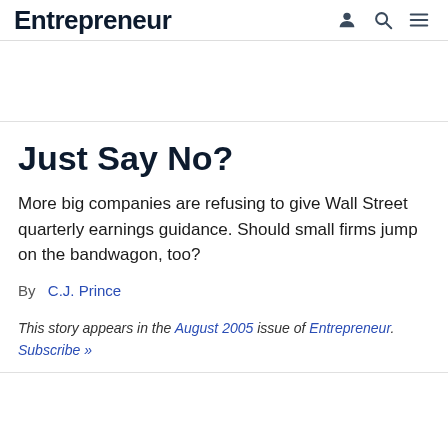Entrepreneur
Just Say No?
More big companies are refusing to give Wall Street quarterly earnings guidance. Should small firms jump on the bandwagon, too?
By C.J. Prince
This story appears in the August 2005 issue of Entrepreneur. Subscribe »